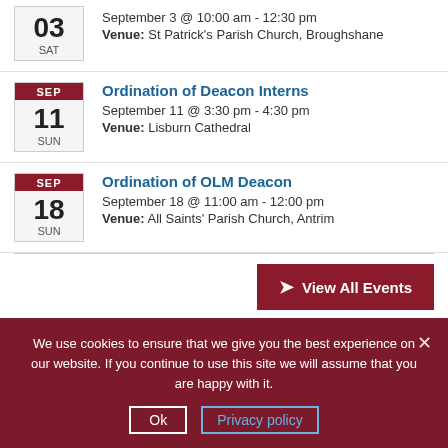03 SAT | September 3 @ 10:00 am - 12:30 pm | Venue: St Patrick's Parish Church, Broughshane
Ordination of Deacon Interns | SEP 11 SUN | September 11 @ 3:30 pm - 4:30 pm | Venue: Lisburn Cathedral
Ordination of OLM Deacon | SEP 18 SUN | September 18 @ 11:00 am - 12:00 pm | Venue: All Saints' Parish Church, Antrim
View All Events
We use cookies to ensure that we give you the best experience on our website. If you continue to use this site we will assume that you are happy with it.
Ok | Privacy policy